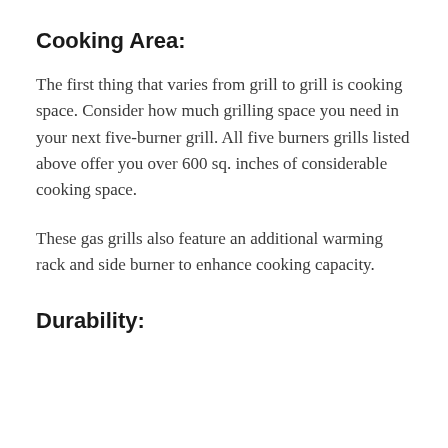Cooking Area:
The first thing that varies from grill to grill is cooking space. Consider how much grilling space you need in your next five-burner grill. All five burners grills listed above offer you over 600 sq. inches of considerable cooking space.
These gas grills also feature an additional warming rack and side burner to enhance cooking capacity.
Durability: